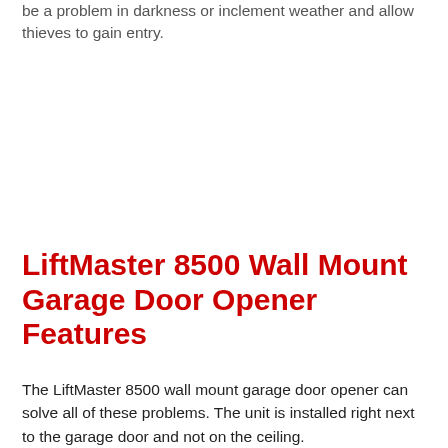be a problem in darkness or inclement weather and allow thieves to gain entry.
LiftMaster 8500 Wall Mount Garage Door Opener Features
The LiftMaster 8500 wall mount garage door opener can solve all of these problems. The unit is installed right next to the garage door and not on the ceiling.